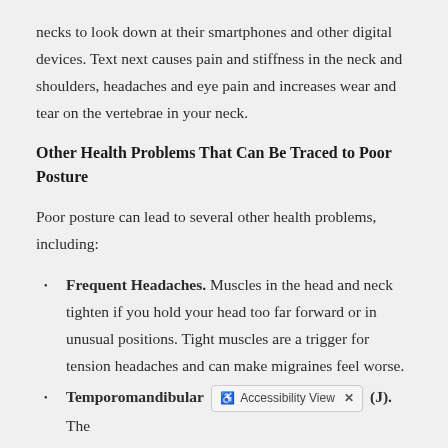necks to look down at their smartphones and other digital devices. Text next causes pain and stiffness in the neck and shoulders, headaches and eye pain and increases wear and tear on the vertebrae in your neck.
Other Health Problems That Can Be Traced to Poor Posture
Poor posture can lead to several other health problems, including:
Frequent Headaches. Muscles in the head and neck tighten if you hold your head too far forward or in unusual positions. Tight muscles are a trigger for tension headaches and can make migraines feel worse.
Temporomandibular [Accessibility View] (J). The